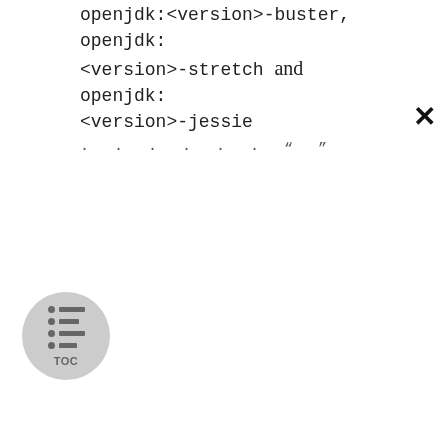openjdk:<version>-buster, openjdk:<version>-stretch and openjdk:<version>-jessie · · · · · · · " "
[Figure (other): TOC (Table of Contents) circular button icon with bullet list lines]